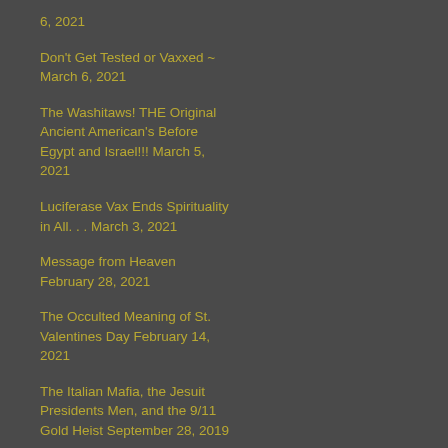6, 2021
Don't Get Tested or Vaxxed ~ March 6, 2021
The Washitaws! THE Original Ancient American's Before Egypt and Israel!!! March 5, 2021
Luciferase Vax Ends Spirituality in All... March 3, 2021
Message from Heaven February 28, 2021
The Occulted Meaning of St. Valentines Day February 14, 2021
The Italian Mafia, the Jesuit Presidents Men, and the 9/11 Gold Heist September 28, 2019
Legal Soul Revocation ~ The